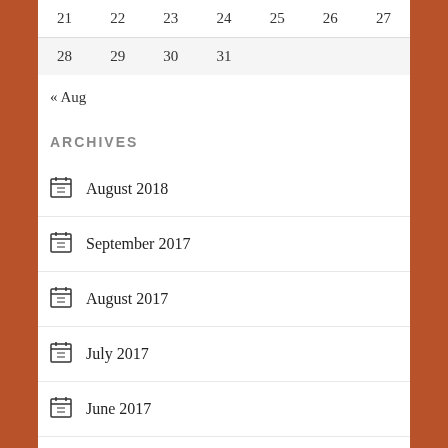| 21 | 22 | 23 | 24 | 25 | 26 | 27 |
| 28 | 29 | 30 | 31 |  |  |  |
« Aug
ARCHIVES
August 2018
September 2017
August 2017
July 2017
June 2017
January 2017
December 2016